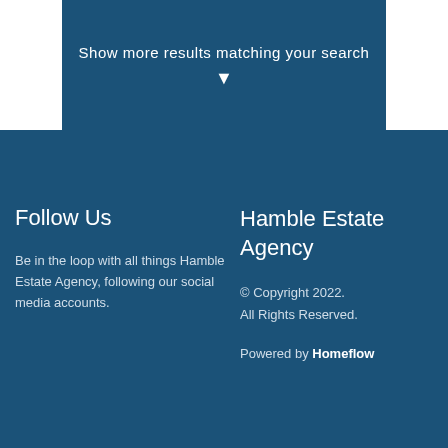Show more results matching your search ▾
Follow Us
Be in the loop with all things Hamble Estate Agency, following our social media accounts.
Hamble Estate Agency
© Copyright 2022. All Rights Reserved.
Powered by Homeflow